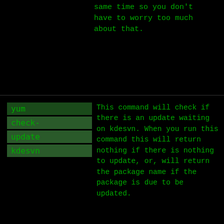same time so you don't have to worry too much about that.
yum check-update kdesvn
This command will check if there is an update waiting on kdesvn. When you run this command this will return nothing if there is nothing to update, or, will return the package name if the package is due to be updated.